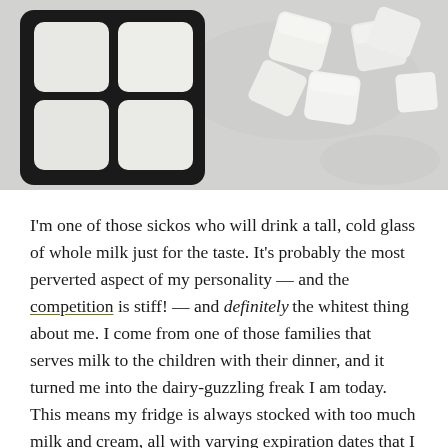[Figure (photo): Overhead photo of white chocolate or ice cubes in a black silicone mold tray on a grey stone surface, with several pieces scattered outside the tray]
I'm one of those sickos who will drink a tall, cold glass of whole milk just for the taste. It's probably the most perverted aspect of my personality — and the competition is stiff! — and definitely the whitest thing about me. I come from one of those families that serves milk to the children with their dinner, and it turned me into the dairy-guzzling freak I am today. This means my fridge is always stocked with too much milk and cream, all with varying expiration dates that I am terrible at keeping track of. Luckily all three of these things can be frozen.
Unluckily, doing so will affect the mouthfeel (the ice cr…